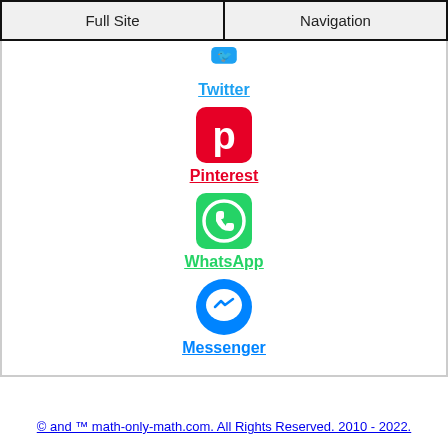Full Site | Navigation
[Figure (logo): Twitter bird icon (blue)]
Twitter
[Figure (logo): Pinterest P icon (red on red background)]
Pinterest
[Figure (logo): WhatsApp phone icon (white on green background)]
WhatsApp
[Figure (logo): Facebook Messenger lightning bolt icon (blue)]
Messenger
© and ™ math-only-math.com. All Rights Reserved. 2010 - 2022.